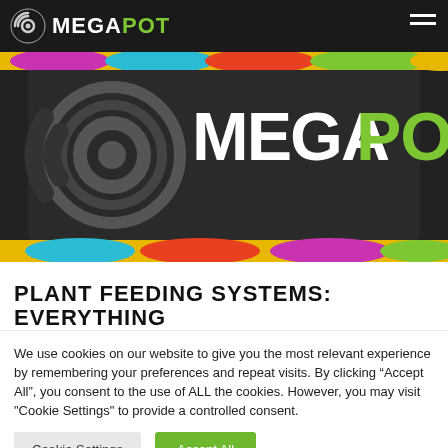MEGA POT
[Figure (logo): MegaPot logo banner with colorful psychedelic background and large MEGA POT text on dark background with brand icon]
PLANT FEEDING SYSTEMS: EVERYTHING
We use cookies on our website to give you the most relevant experience by remembering your preferences and repeat visits. By clicking “Accept All”, you consent to the use of ALL the cookies. However, you may visit "Cookie Settings" to provide a controlled consent.